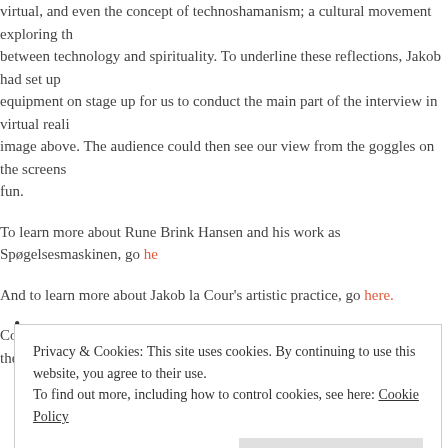virtual, and even the concept of technoshamanism; a cultural movement exploring the relationship between technology and spirituality. To underline these reflections, Jakob had set up VR equipment on stage up for us to conduct the main part of the interview in virtual reality — see image above. The audience could then see our view from the goggles on the screens behind us. Great fun.
To learn more about Rune Brink Hansen and his work as Spøgelsesmaskinen, go here.
And to learn more about Jakob la Cour's artistic practice, go here.
CopenX can be found here. And check out this 2-minute video recap of the day:
•
Privacy & Cookies: This site uses cookies. By continuing to use this website, you agree to their use.
To find out more, including how to control cookies, see here: Cookie Policy